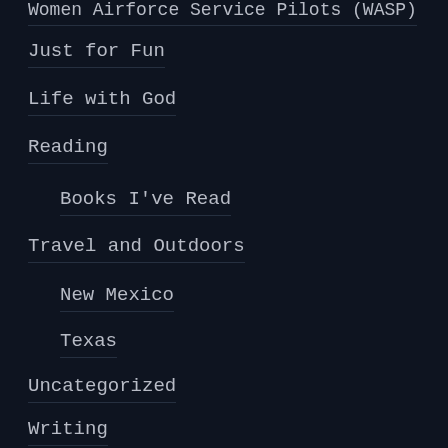Women Airforce Service Pilots (WASP)
Just for Fun
Life with God
Reading
Books I've Read
Travel and Outdoors
New Mexico
Texas
Uncategorized
Writing
Archives
December 2017